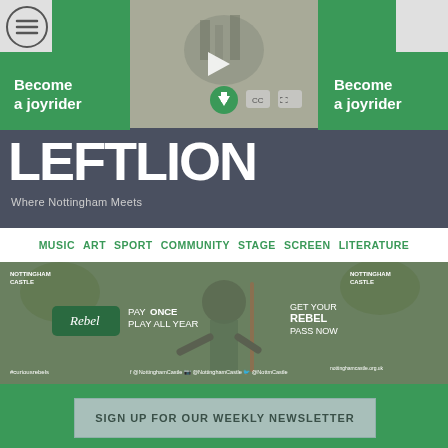[Figure (screenshot): Website header screenshot showing LeftLion website with green sidebars, video thumbnail, navigation menu, and Nottingham Castle Rebel Pass advertisement]
Become a joyrider
Become a joyrider
LEFTLION
Where Nottingham Meets
MUSIC  ART  SPORT  COMMUNITY  STAGE  SCREEN  LITERATURE
[Figure (photo): Nottingham Castle Rebel Pass advertisement showing a medieval man with a staff, text: PAY ONCE PLAY ALL YEAR, GET YOUR REBEL PASS NOW, Rebel badge logo, #curiousrebels, nottinghamcastle.org.uk]
SIGN UP FOR OUR WEEKLY NEWSLETTER